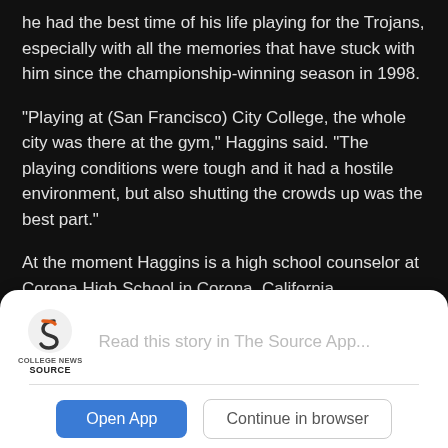he had the best time of his life playing for the Trojans, especially with all the memories that have stuck with him since the championship-winning season in 1998.
“Playing at (San Francisco) City College, the whole city was there at the gym,” Haggins said. “The playing conditions were tough and it had a hostile environment, but also shutting the crowds up was the best part.”
At the moment Haggins is a high school counselor at Corona High School in Corona, California.
Baseball is not just a sport, it’s a sport that can help you
[Figure (logo): College News Source logo with stylized 'S' icon in dark gray and orange, with text 'COLLEGE NEWS SOURCE' below]
Read this story in The Source App...
Open App
Continue in browser